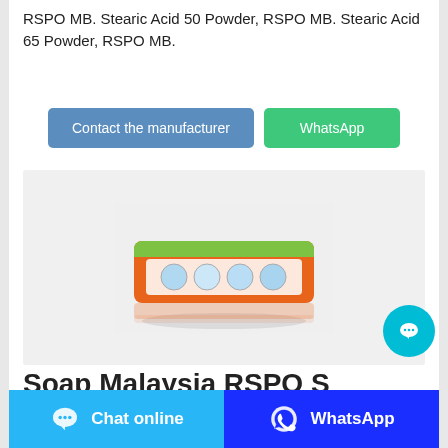RSPO MB. Stearic Acid 50 Powder, RSPO MB. Stearic Acid 65 Powder, RSPO MB.
[Figure (other): Two buttons: 'Contact the manufacturer' (steel blue) and 'WhatsApp' (green)]
[Figure (photo): Product photo of an orange packaged soap bar on white background with reflection]
[Figure (other): Cyan circular chat bubble button overlay at bottom right]
Soap Malaysia RSPO S...
[Figure (other): Bottom bar with two buttons: 'Chat online' (light blue) and 'WhatsApp' (dark blue)]